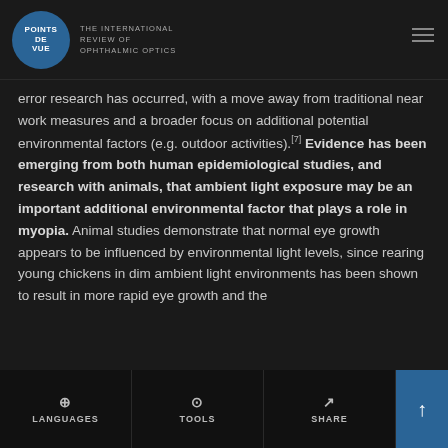POINTS DE VUE — THE INTERNATIONAL REVIEW OF OPHTHALMIC OPTICS
error research has occurred, with a move away from traditional near work measures and a broader focus on additional potential environmental factors (e.g. outdoor activities).[7] Evidence has been emerging from both human epidemiological studies, and research with animals, that ambient light exposure may be an important additional environmental factor that plays a role in myopia. Animal studies demonstrate that normal eye growth appears to be influenced by environmental light levels, since rearing young chickens in dim ambient light environments has been shown to result in more rapid eye growth and the
LANGUAGES   TOOLS   SHARE